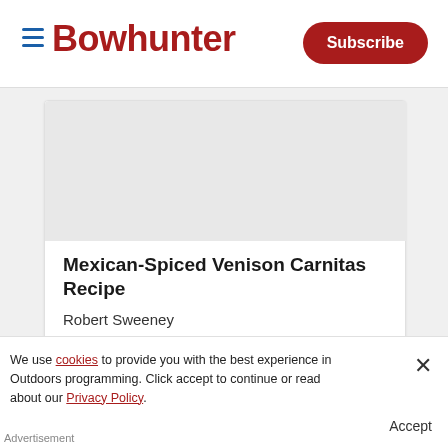Bowhunter | Subscribe
[Figure (photo): Gray placeholder image area for article thumbnail]
Mexican-Spiced Venison Carnitas Recipe
Robert Sweeney
[Figure (photo): Gray placeholder image area for second article thumbnail]
We use cookies to provide you with the best experience in Outdoors programming. Click accept to continue or read about our Privacy Policy.
Advertisement